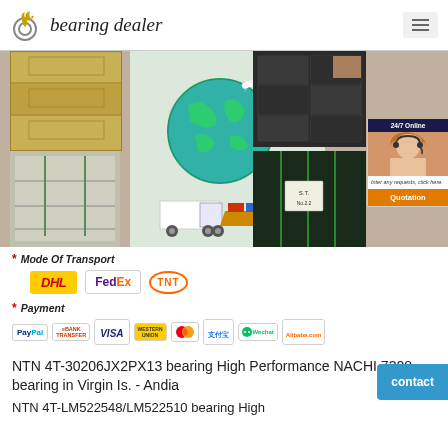bearing dealer
[Figure (photo): Collage of bearing warehouse boxes, globe with airplane and truck shipping illustration, stacked black bearing packages, and a 24/7 online customer service chat widget with a woman wearing a headset and a Quotation button]
* Mode Of Transport
[Figure (logo): DHL, FedEx, and TNT carrier logos]
* Payment
[Figure (logo): Payment method logos: PayPal, Bank Transfer, VISA, Western Union, Mastercard, Alipay, WeChat, Alibaba]
NTN 4T-30206JX2PX13 bearing High Performance NACHI 7308 bearing in Virgin Is. - Andia
NTN 4T-LM522548/LM522510 bearing High